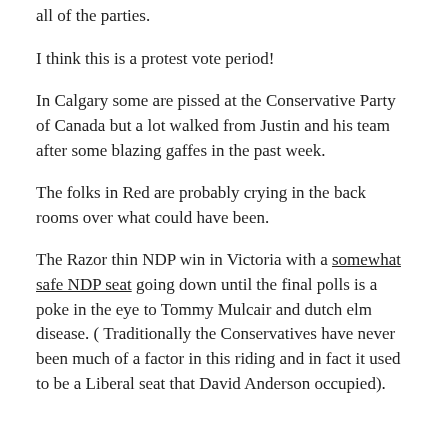all of the parties.
I think this is a protest vote period!
In Calgary some are pissed at the Conservative Party of Canada but a lot walked from Justin and his team after some blazing gaffes in the past week.
The folks in Red are probably crying in the back rooms over what could have been.
The Razor thin NDP win in Victoria with a somewhat safe NDP seat going down until the final polls is a poke in the eye to Tommy Mulcair and dutch elm disease. ( Traditionally the Conservatives have never been much of a factor in this riding and in fact it used to be a Liberal seat that David Anderson occupied).